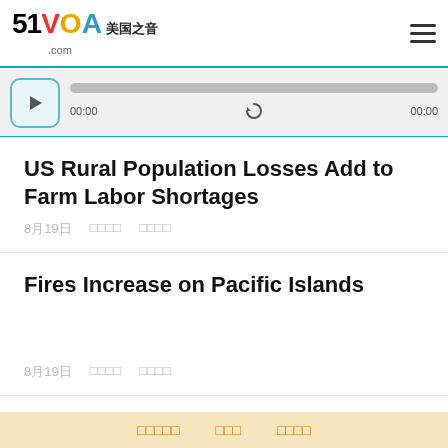51VOA 美国之音 .com
[Figure (other): Audio player with play button, progress bar, time displays (00:00 and 00:00), and a replay/refresh icon]
US Rural Population Losses Add to Farm Labor Shortages
8月19日  □□□□  □□□□
Fires Increase on Pacific Islands
8月19日  □□□□  □□□□
□□□□□  □□□  □□□□